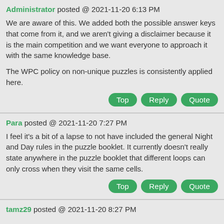Administrator posted @ 2021-11-20 6:13 PM
We are aware of this. We added both the possible answer keys that come from it, and we aren't giving a disclaimer because it is the main competition and we want everyone to approach it with the same knowledge base.
The WPC policy on non-unique puzzles is consistently applied here.
Top   Reply   Quote
Para posted @ 2021-11-20 7:27 PM
I feel it's a bit of a lapse to not have included the general Night and Day rules in the puzzle booklet. It currently doesn't really state anywhere in the puzzle booklet that different loops can only cross when they visit the same cells.
Top   Reply   Quote
tamz29 posted @ 2021-11-20 8:27 PM